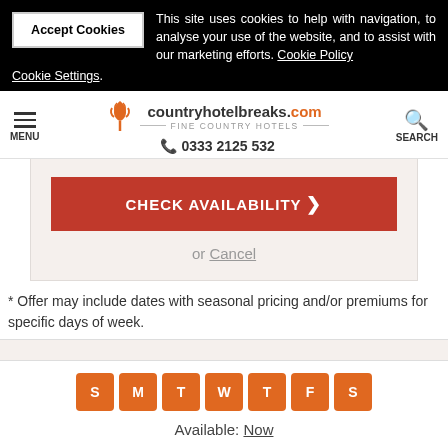This site uses cookies to help with navigation, to analyse your use of the website, and to assist with our marketing efforts. Cookie Policy
Cookie Settings.
countryhotelbreaks.com FINE COUNTRY HOTELS 0333 2125 532
CHECK AVAILABILITY
or Cancel
* Offer may include dates with seasonal pricing and/or premiums for specific days of week.
[Figure (other): Day of week selector showing S M T W T F S boxes in orange]
Available: Now